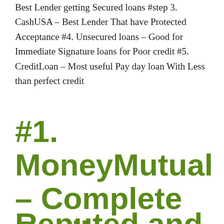Best Lender getting Secured loans #step 3. CashUSA – Best Lender That have Protected Acceptance #4. Unsecured loans – Good for Immediate Signature loans for Poor credit #5. CreditLoan – Most useful Pay day loan With Less than perfect credit
#1. MoneyMutual – Complete Really Reputed and